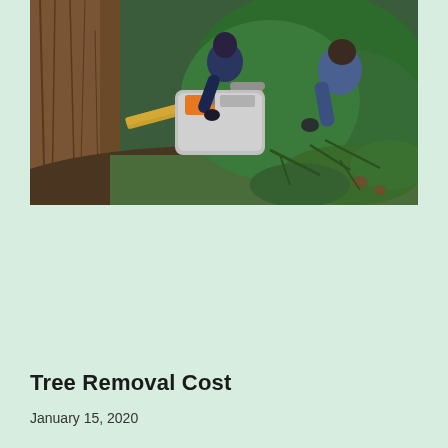[Figure (photo): Two workers using a chainsaw to cut into the base of a large tree trunk surrounded by green foliage and branches]
Tree Removal Cost
January 15, 2020